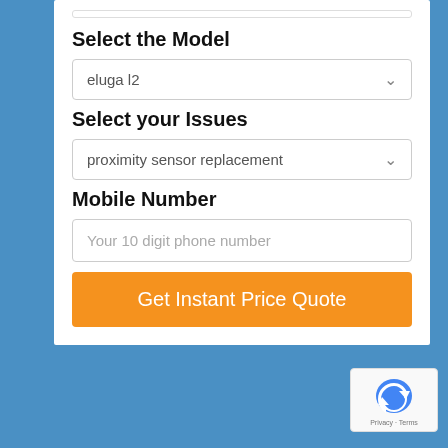Select the Model
eluga l2
Select your Issues
proximity sensor replacement
Mobile Number
Your 10 digit phone number
Get Instant Price Quote
Privacy · Terms